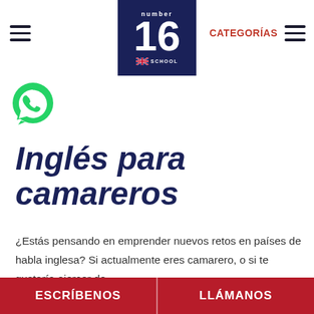[Figure (logo): Number 16 English School logo — dark navy blue square with large white '16' numeral, 'number' text above and 'school' text with UK flag below]
[Figure (logo): WhatsApp green circular icon with phone handset]
CATEGORÍAS
Inglés para camareros
¿Estás pensando en emprender nuevos retos en países de habla inglesa? Si actualmente eres camarero, o si te gustaría ejercer de
ESCRÍBENOS | LLÁMANOS